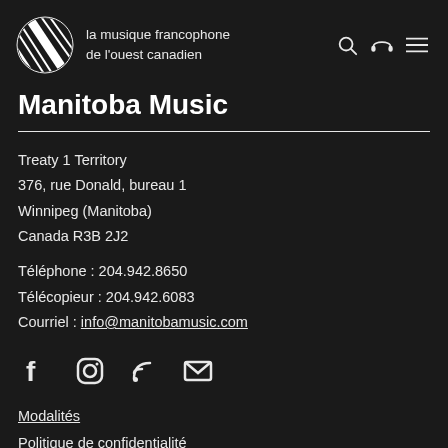la musique francophone de l'ouest canadien
Manitoba Music
Treaty 1 Territory
376, rue Donald, bureau 1
Winnipeg (Manitoba)
Canada R3B 2J2

Téléphone : 204.942.8650
Télécopieur : 204.942.6083
Courriel : info@manitobamusic.com
[Figure (other): Social media icons: Facebook, Instagram, RSS feed, Email]
Modalités
Politique de confidentialité